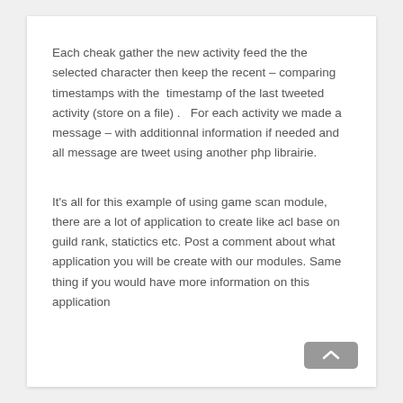Each cheak gather the new activity feed the the selected character then keep the recent – comparing timestamps with the  timestamp of the last tweeted activity (store on a file) .  For each activity we made a message – with additionnal information if needed and all message are tweet using another php librairie.
It's all for this example of using game scan module, there are a lot of application to create like acl base on guild rank, statictics etc. Post a comment about what application you will be create with our modules. Same thing if you would have more information on this application